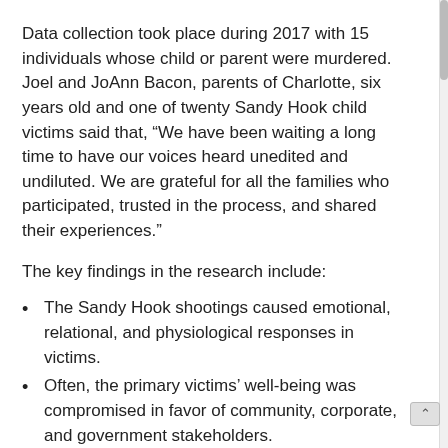Data collection took place during 2017 with 15 individuals whose child or parent were murdered. Joel and JoAnn Bacon, parents of Charlotte, six years old and one of twenty Sandy Hook child victims said that, “We have been waiting a long time to have our voices heard unedited and undiluted. We are grateful for all the families who participated, trusted in the process, and shared their experiences.”
The key findings in the research include:
The Sandy Hook shootings caused emotional, relational, and physiological responses in victims.
Often, the primary victims’ well-being was compromised in favor of community, corporate, and government stakeholders.
Training is needed, along with fiscal accountability, to address primary victim needs after mass shootings.
Primary victims’ perception of social support was both positive and negative.
Helpful to the families were interactions that obtained consent,